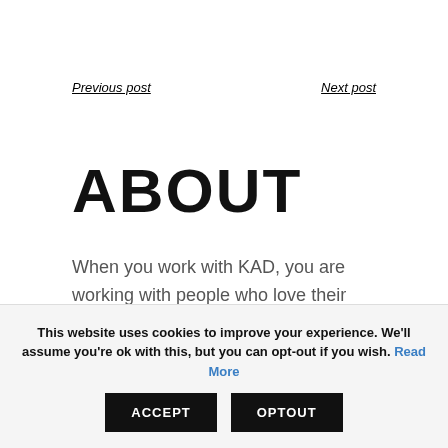Previous post    Next post
ABOUT
When you work with KAD, you are working with people who love their craft. We believe if a project is worth doing, it is
This website uses cookies to improve your experience. We'll assume you're ok with this, but you can opt-out if you wish. Read More ACCEPT OPTOUT